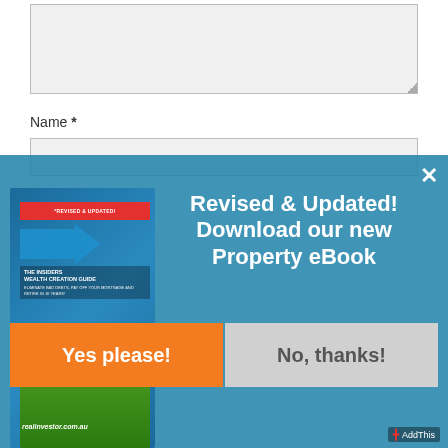[Figure (screenshot): Large textarea input field with resize handle at bottom right, gray background]
Name *
[Figure (screenshot): Text input field for Name, gray background with border]
[Figure (screenshot): Modal popup overlay with blue background, showing a property eBook promotion. Book cover visible on left with title 'THE INSIDERS WEALTH CREATION GUIDE', text 'REVISED & UPDATED!' banner, subtitle 'ELIMINATE BAD DEBTS, PAY OFF YOUR MORTGAGE AND RETIRE IN 10 YEARS!', and realinvestor.com.au branding. Headline reads 'Revised & Updated! Download our new Property eBook'. Two buttons: 'Yes please!' in orange and 'No, thanks!' in gray. X close button top right. AddThis badge bottom right.]